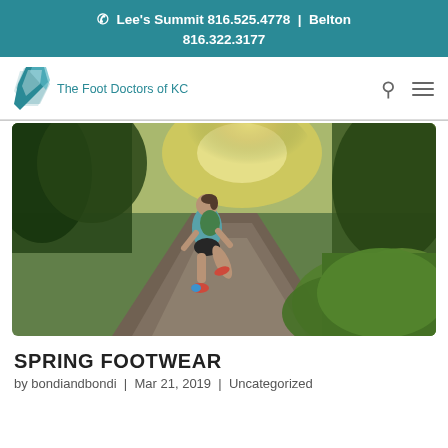📞 Lee's Summit 816.525.4778 | Belton 816.322.3177
[Figure (logo): The Foot Doctors of KC logo — teal angular foot/leg shape with text]
[Figure (photo): Person running on a trail path through green foliage, wearing colorful running shoes, viewed from behind, sunny outdoor setting]
SPRING FOOTWEAR
by bondiandbondi | Mar 21, 2019 | Uncategorized